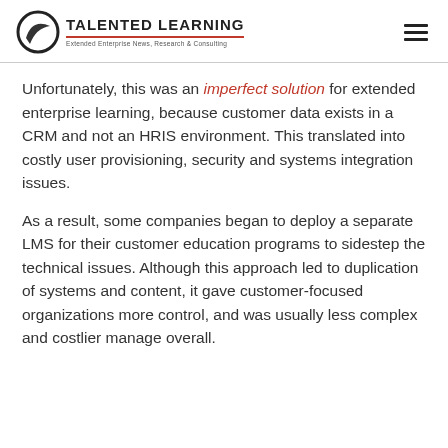TALENTED LEARNING — Extended Enterprise News, Research & Consulting
Unfortunately, this was an imperfect solution for extended enterprise learning, because customer data exists in a CRM and not an HRIS environment. This translated into costly user provisioning, security and systems integration issues.
As a result, some companies began to deploy a separate LMS for their customer education programs to sidestep the technical issues. Although this approach led to duplication of systems and content, it gave customer-focused organizations more control, and was usually less complex and costlier manage overall.